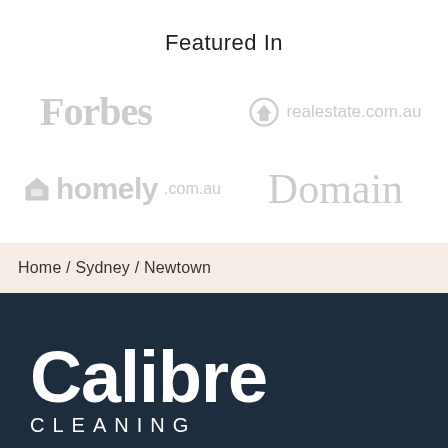Featured In
[Figure (logo): Forbes logo in light grey]
[Figure (logo): realestate.com.au logo with house icon in light grey]
[Figure (logo): homely.com.au logo with envelope/house icon in light grey]
[Figure (logo): Domain logo in light grey serif font]
Home / Sydney / Newtown
[Figure (logo): Calibre Cleaning logo — white text on dark navy background]